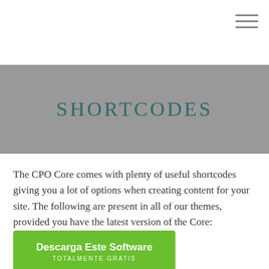SHORTCODES
The CPO Core comes with plenty of useful shortcodes giving you a lot of options when creating content for your site. The following are present in all of our themes, provided you have the latest version of the Core:
[Figure (other): Green call-to-action button with bold white text 'Descarga Este Software' and subtitle 'TOTALMENTE GRATIS']